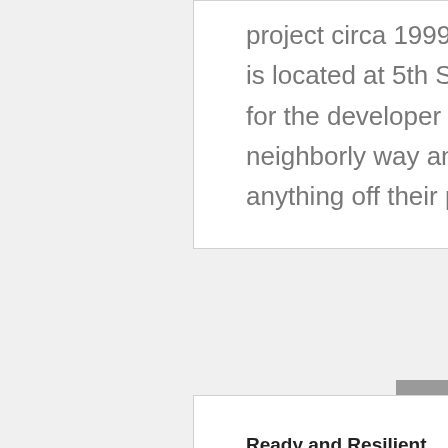project circa 1999 on the former oil field dump. It is located at 5th Street and Harbor Blvd. Let's ask for the developer to work with the community in a neighborly way and NOT DUMP or DRAIN anything off their property into the canal.
Ready and Resilient
by CVadmin | Sep 2, 2019 | CI
Neighborhood News, City_Of_Oxnard